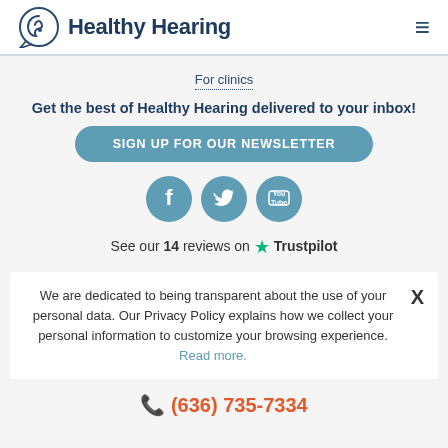Healthy Hearing
For clinics
Get the best of Healthy Hearing delivered to your inbox!
SIGN UP FOR OUR NEWSLETTER
[Figure (illustration): Social media icons: Facebook, Twitter, YouTube in teal circles]
See our 14 reviews on Trustpilot
We are dedicated to being transparent about the use of your personal data. Our Privacy Policy explains how we collect your personal information to customize your browsing experience. Read more.
(636) 735-7334